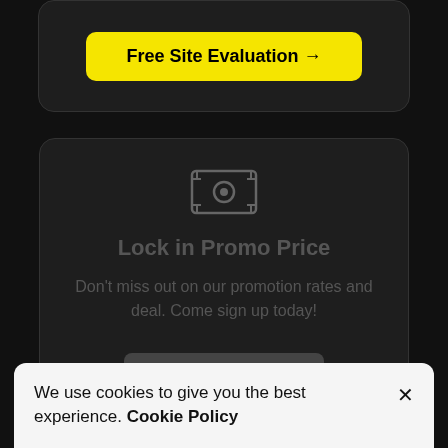[Figure (other): Yellow button with text 'Free Site Evaluation →' inside a dark rounded card at the top]
[Figure (other): Dark rounded card with a money/cash icon, heading 'Lock in Promo Price', descriptive text, and a grey button bar at the bottom]
We use cookies to give you the best experience. Cookie Policy